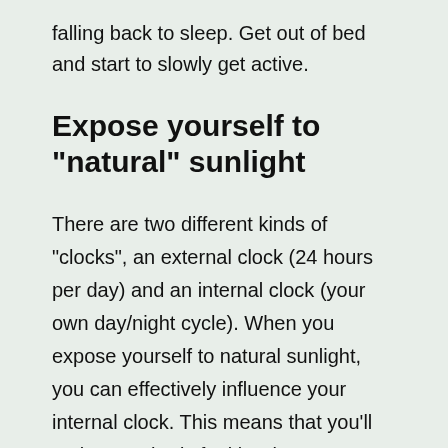falling back to sleep. Get out of bed and start to slowly get active.
Expose yourself to "natural" sunlight
There are two different kinds of "clocks", an external clock (24 hours per day) and an internal clock (your own day/night cycle). When you expose yourself to natural sunlight, you can effectively influence your internal clock. This means that you'll make your body feel it's time to get up, it'll help you energize yourself. The external clock is the 24 hour day